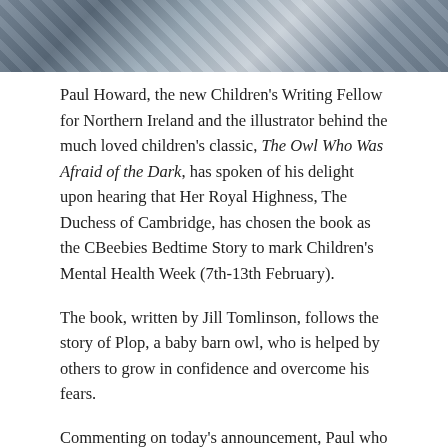[Figure (photo): Partial photo at the top of the page showing books or geometric shapes in blue and grey tones, cropped at the bottom of the image strip.]
Paul Howard, the new Children’s Writing Fellow for Northern Ireland and the illustrator behind the much loved children’s classic, The Owl Who Was Afraid of the Dark, has spoken of his delight upon hearing that Her Royal Highness, The Duchess of Cambridge, has chosen the book as the CBeebies Bedtime Story to mark Children’s Mental Health Week (7th-13th February).
The book, written by Jill Tomlinson, follows the story of Plop, a baby barn owl, who is helped by others to grow in confidence and overcome his fears.
Commenting on today’s announcement, Paul who